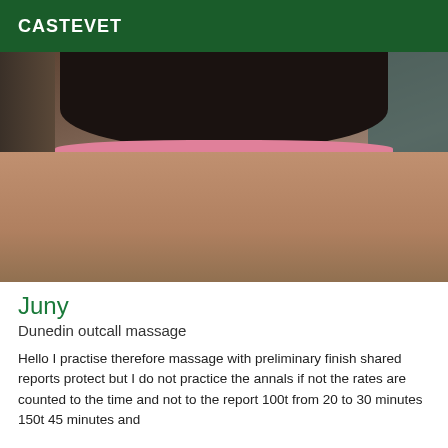CASTEVET
[Figure (photo): Photo of a person in a short black skirt with pink lace trim, showing legs, standing in an indoor room setting]
Juny
Dunedin outcall massage
Hello I practise therefore massage with preliminary finish shared reports protect but I do not practice the annals if not the rates are counted to the time and not to the report 100t from 20 to 30 minutes 150t 45 minutes and